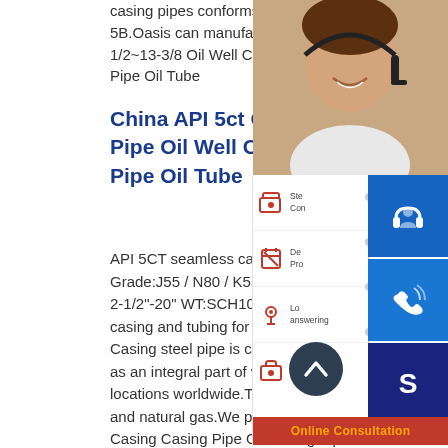casing pipes conforms to API Spe 5B.Oasis can manufacture 114.30 1/2~13-3/8 Oil Well Casing Casing Pipe Oil Tube
China API 5ct Oil Well Casing Pipe Oil Well Casing Casing Pipe Oil Tube
API 5CT seamless casing and tubing Grade:J55 / N80 / K55 Brand:BAOG 2-1/2"-20" WT:SCH10-SCH80. API casing and tubing for OCTG Specification. Casing steel pipe is currently in use as an integral part of well production locations worldwide.Tubing is for extracting petroleum and natural gas.We provides high-quality Oil Well Casing Casing Pipe Oil Casing Pipe Oil Tube China Oil Well Casing Pipe Suppliers, Manufacturers Oil Well Casing Casing Pipe Oil Casing Pipe Oil Tube Oil Well Casing Pipe . STANDARD ASTM, GB, API, JIS, BS,
[Figure (photo): Customer service representative smiling, wearing headset]
[Figure (infographic): Sidebar with four service icons: Steel Construction, Deep Processing, Local answering, After-sales Service, plus blue contact buttons (headset, phone, Skype) and Online Consultation button]